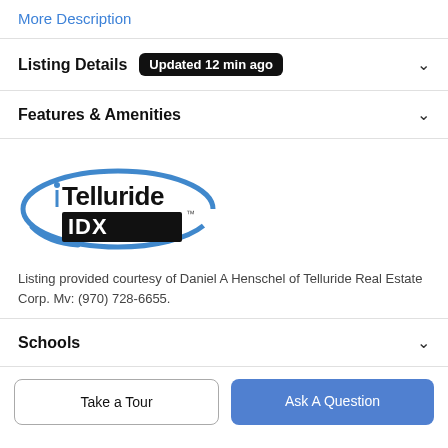More Description
Listing Details  Updated 12 min ago
Features & Amenities
[Figure (logo): Telluride IDX logo with blue swirl arc around bold black text 'Telluride IDX']
Listing provided courtesy of Daniel A Henschel of Telluride Real Estate Corp. Mv: (970) 728-6655.
Schools
Take a Tour
Ask A Question